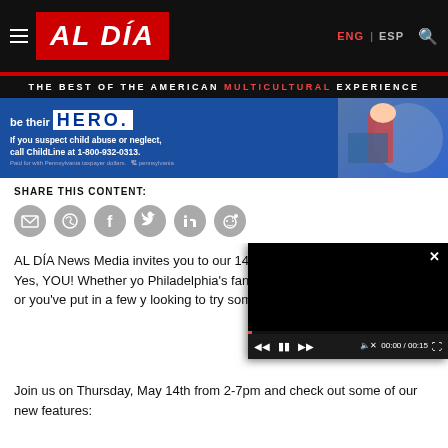AL DÍA — THE BEST OF THE AMERICAN MULTICULTURAL EXPERIENCE
[Figure (photo): Advertisement banner: child abuse awareness ad — 'be their HERO. If you suspect child abuse or neglect, call ChildLine at 1-800-932-0313. Paid for with Pennsylvania taxpayer dollars.']
SHARE THIS CONTENT:
[Figure (infographic): Social share icons: email, WhatsApp, Facebook, Twitter, LinkedIn, Reddit — all grey circles]
AL DÍA News Media invites you to our 14th Annual Diversity Career Fair. Yes, YOU! Whether yo Philadelphia's fantastic universities your career, or you've put in a few y looking to try something new, we've
[Figure (screenshot): Video player overlay with black screen, play controls, and timestamp 00:00 / 00:15]
Join us on Thursday, May 14th from 2-7pm and check out some of our new features: